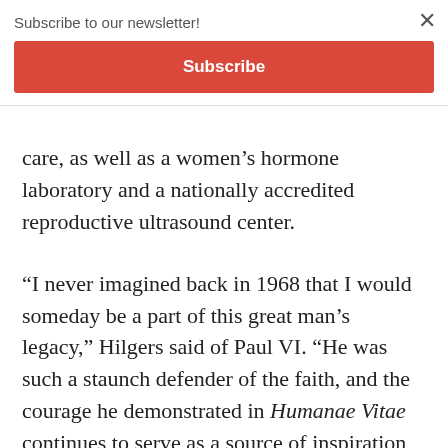Subscribe to our newsletter!
Subscribe
care, as well as a women’s hormone laboratory and a nationally accredited reproductive ultrasound center.
“I never imagined back in 1968 that I would someday be a part of this great man’s legacy,” Hilgers said of Paul VI. “He was such a staunch defender of the faith, and the courage he demonstrated in Humanae Vitae continues to serve as a source of inspiration to both the institute and to me personally.”